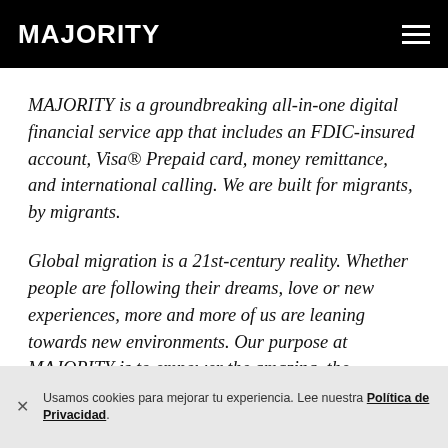MAJORITY
MAJORITY is a groundbreaking all-in-one digital financial service app that includes an FDIC-insured account, Visa® Prepaid card, money remittance, and international calling. We are built for migrants, by migrants.
Global migration is a 21st-century reality. Whether people are following their dreams, love or new experiences, more and more of us are leaning towards new environments. Our purpose at MAJORITY is to empower the amazing, the
Usamos cookies para mejorar tu experiencia. Lee nuestra Política de Privacidad.